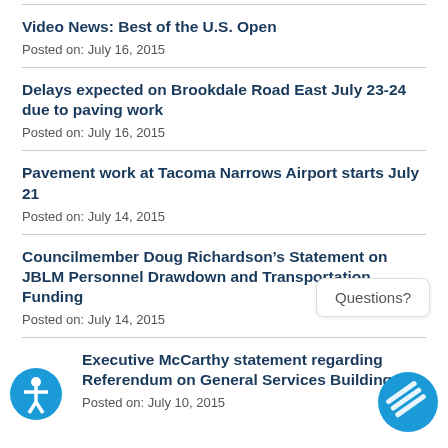Video News: Best of the U.S. Open
Posted on: July 16, 2015
Delays expected on Brookdale Road East July 23-24 due to paving work
Posted on: July 16, 2015
Pavement work at Tacoma Narrows Airport starts July 21
Posted on: July 14, 2015
Councilmember Doug Richardson’s Statement on JBLM Personnel Drawdown and Transportation Funding
Posted on: July 14, 2015
Executive McCarthy statement regarding Referendum on General Services Building
Posted on: July 10, 2015